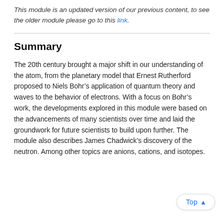This module is an updated version of our previous content, to see the older module please go to this link.
Summary
The 20th century brought a major shift in our understanding of the atom, from the planetary model that Ernest Rutherford proposed to Niels Bohr’s application of quantum theory and waves to the behavior of electrons. With a focus on Bohr’s work, the developments explored in this module were based on the advancements of many scientists over time and laid the groundwork for future scientists to build upon further. The module also describes James Chadwick’s discovery of the neutron. Among other topics are anions, cations, and isotopes.